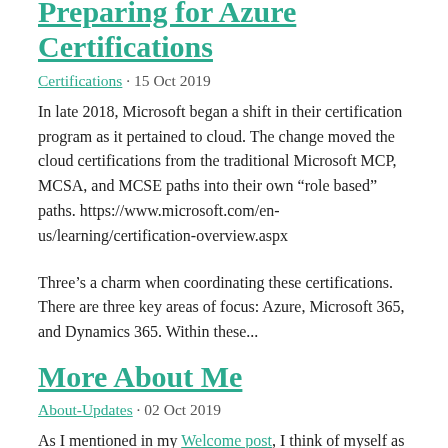Preparing for Azure Certifications
Certifications · 15 Oct 2019
In late 2018, Microsoft began a shift in their certification program as it pertained to cloud. The change moved the cloud certifications from the traditional Microsoft MCP, MCSA, and MCSE paths into their own "role based" paths. https://www.microsoft.com/en-us/learning/certification-overview.aspx
Three’s a charm when coordinating these certifications. There are three key areas of focus: Azure, Microsoft 365, and Dynamics 365. Within these...
More About Me
About-Updates · 02 Oct 2019
As I mentioned in my Welcome post, I think of myself as a